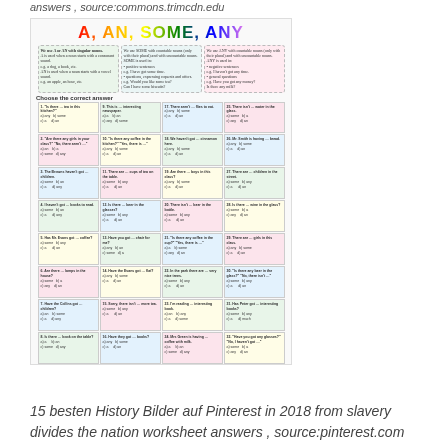answers , source:commons.trimcdn.edu
[Figure (illustration): Educational worksheet titled 'A, AN, SOME, ANY' showing grammar rules and a multiple-choice exercise with 32 numbered questions arranged in a 4-column grid. Each question has 4 answer options (a, b, c, d). The worksheet header contains three colored boxes explaining when to use A/AN, SOME, and ANY.]
15 besten History Bilder auf Pinterest in 2018 from slavery divides the nation worksheet answers , source:pinterest.com